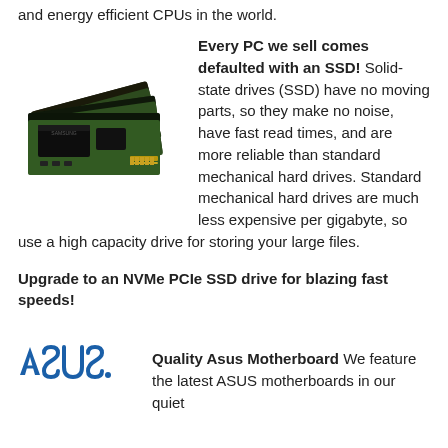and energy efficient CPUs in the world.
[Figure (photo): M.2 NVMe SSD drives stacked, showing green PCB and gold connectors]
Every PC we sell comes defaulted with an SSD! Solid-state drives (SSD) have no moving parts, so they make no noise, have fast read times, and are more reliable than standard mechanical hard drives. Standard mechanical hard drives are much less expensive per gigabyte, so use a high capacity drive for storing your large files. Upgrade to an NVMe PCIe SSD drive for blazing fast speeds!
[Figure (logo): ASUS logo in blue/dark stylized text with registered trademark symbol]
Quality Asus Motherboard We feature the latest ASUS motherboards in our quiet systems. ASUS® is the world's best selling and most award winning motherboard manufacturer. They provide supreme reliability, top-notch cutting-edge features and excellent manufacturer support. Our motherboards contain fanless